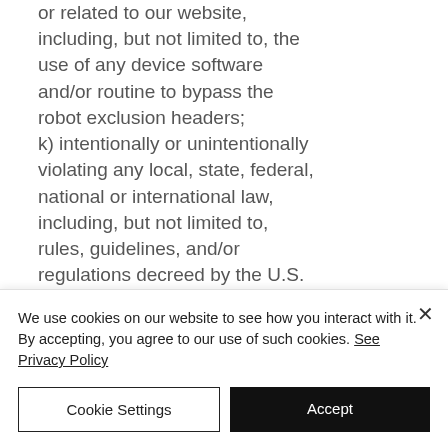or related to our website, including, but not limited to, the use of any device software and/or routine to bypass the robot exclusion headers; k) intentionally or unintentionally violating any local, state, federal, national or international law, including, but not limited to, rules, guidelines, and/or regulations decreed by the U.S. Securities and Exchange Commission, in addition to any
We use cookies on our website to see how you interact with it. By accepting, you agree to our use of such cookies. See Privacy Policy